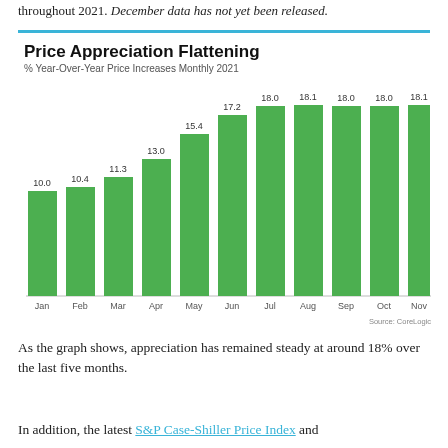throughout 2021. December data has not yet been released.
[Figure (bar-chart): Price Appreciation Flattening]
As the graph shows, appreciation has remained steady at around 18% over the last five months.
In addition, the latest S&P Case-Shiller Price Index and